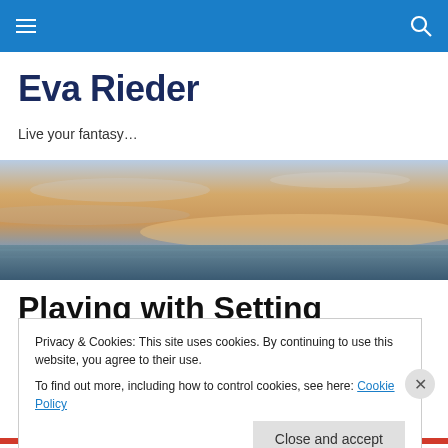Eva Rieder — navigation bar with hamburger menu and search icon
Eva Rieder
Live your fantasy…
[Figure (photo): Ocean horizon at sunset/dusk with warm golden sky and dark water]
Playing with Setting
Privacy & Cookies: This site uses cookies. By continuing to use this website, you agree to their use.
To find out more, including how to control cookies, see here: Cookie Policy
Close and accept